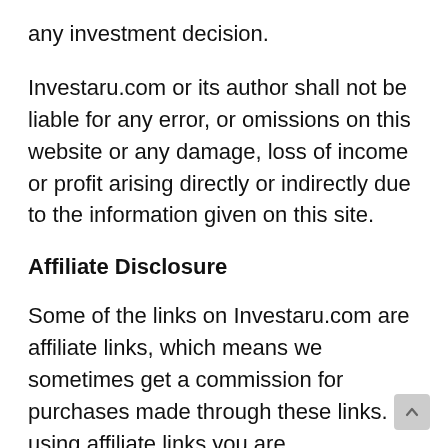any investment decision.
Investaru.com or its author shall not be liable for any error, or omissions on this website or any damage, loss of income or profit arising directly or indirectly due to the information given on this site.
Affiliate Disclosure
Some of the links on Investaru.com are affiliate links, which means we sometimes get a commission for purchases made through these links. By using affiliate links you are